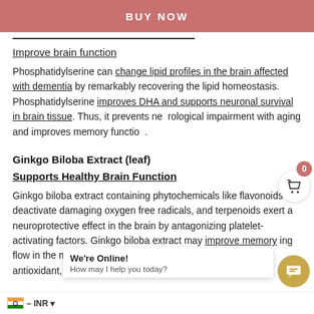BUY NOW
Improve brain function
Phosphatidylserine can change lipid profiles in the brain affected with dementia by remarkably recovering the lipid homeostasis. Phosphatidylserine improves DHA and supports neuronal survival in brain tissue. Thus, it prevents neurological impairment with aging and improves memory function.
Ginkgo Biloba Extract (leaf)
Supports Healthy Brain Function
Ginkgo biloba extract containing phytochemicals like flavonoids deactivate damaging oxygen free radicals, and terpenoids exert a neuroprotective effect in the brain by antagonizing platelet-activating factors. Ginkgo biloba extract may improve memory increasing flow in the microcirculation in the brain and blood viscosity due to its antioxidant, anti-inflammatory,